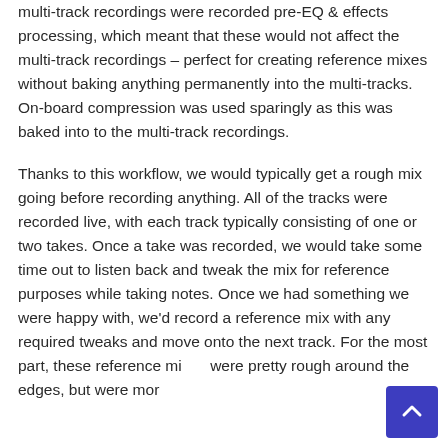multi-track recordings were recorded pre-EQ & effects processing, which meant that these would not affect the multi-track recordings – perfect for creating reference mixes without baking anything permanently into the multi-tracks. On-board compression was used sparingly as this was baked into to the multi-track recordings.
Thanks to this workflow, we would typically get a rough mix going before recording anything. All of the tracks were recorded live, with each track typically consisting of one or two takes. Once a take was recorded, we would take some time out to listen back and tweak the mix for reference purposes while taking notes. Once we had something we were happy with, we'd record a reference mix with any required tweaks and move onto the next track. For the most part, these reference mixes were pretty rough around the edges, but were more